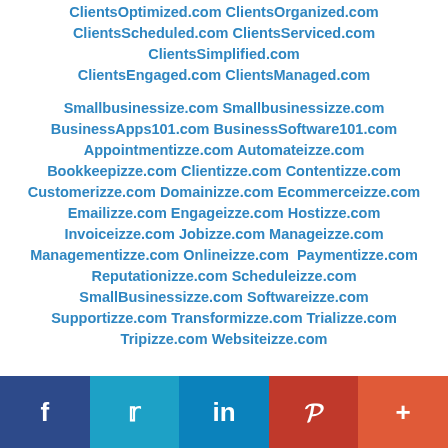ClientsOptimized.com ClientsOrganized.com ClientsScheduled.com ClientsServiced.com ClientsSimplified.com ClientsEngaged.com ClientsManaged.com
Smallbusinessize.com Smallbusinessizze.com BusinessApps101.com BusinessSoftware101.com Appointmentizze.com Automateizze.com Bookkeepizze.com Clientizze.com Contentizze.com Customerizze.com Domainizze.com Ecommerceizze.com Emailizze.com Engageizze.com Hostizze.com Invoiceizze.com Jobizze.com Manageizze.com Managementizze.com Onlineizze.com Paymentizze.com Reputationizze.com Scheduleizze.com SmallBusinessizze.com Softwareizze.com Supportizze.com Transformizze.com Trializze.com Tripizze.com Websiteizze.com
f  Twitter  in  Pinterest  +